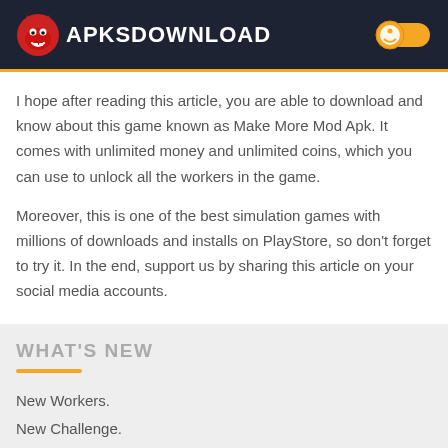APKSDOWNLOAD
I hope after reading this article, you are able to download and know about this game known as Make More Mod Apk. It comes with unlimited money and unlimited coins, which you can use to unlock all the workers in the game.
Moreover, this is one of the best simulation games with millions of downloads and installs on PlayStore, so don't forget to try it. In the end, support us by sharing this article on your social media accounts.
WHAT'S NEW
New Workers.
New Challenge.